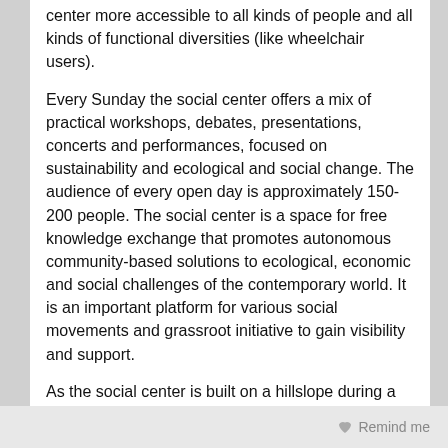center more accessible to all kinds of people and all kinds of functional diversities (like wheelchair users).
Every Sunday the social center offers a mix of practical workshops, debates, presentations, concerts and performances, focused on sustainability and ecological and social change. The audience of every open day is approximately 150-200 people. The social center is a space for free knowledge exchange that promotes autonomous community-based solutions to ecological, economic and social challenges of the contemporary world. It is an important platform for various social movements and grassroot initiative to gain visibility and support.
As the social center is built on a hillslope during a historical period when accessibility criteria were not taken into account, we find steep slopes or steps in all present ways of access, which are very difficult or impossible to adapt. On top of that, the social center terraces is full of obstacles and areas at different
Remind me